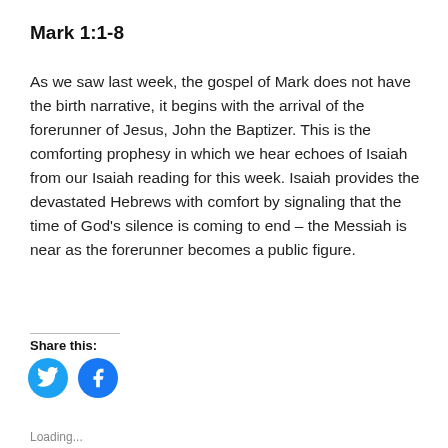Mark 1:1-8
As we saw last week, the gospel of Mark does not have the birth narrative, it begins with the arrival of the forerunner of Jesus, John the Baptizer.  This is the comforting prophesy in which we hear echoes of Isaiah from our Isaiah reading for this week.  Isaiah provides the devastated Hebrews with comfort by signaling that the time of God's silence is coming to end – the Messiah is near as the forerunner becomes a public figure.
Share this:
[Figure (logo): Twitter share button icon (blue circle with white bird)]
[Figure (logo): Facebook share button icon (blue circle with white f)]
Loading...